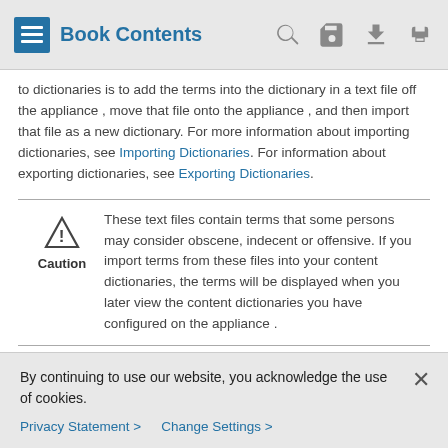Book Contents
to dictionaries is to add the terms into the dictionary in a text file off the appliance , move that file onto the appliance , and then import that file as a new dictionary. For more information about importing dictionaries, see Importing Dictionaries. For information about exporting dictionaries, see Exporting Dictionaries.
Caution: These text files contain terms that some persons may consider obscene, indecent or offensive. If you import terms from these files into your content dictionaries, the terms will be displayed when you later view the content dictionaries you have configured on the appliance .
By continuing to use our website, you acknowledge the use of cookies.
Privacy Statement > Change Settings >